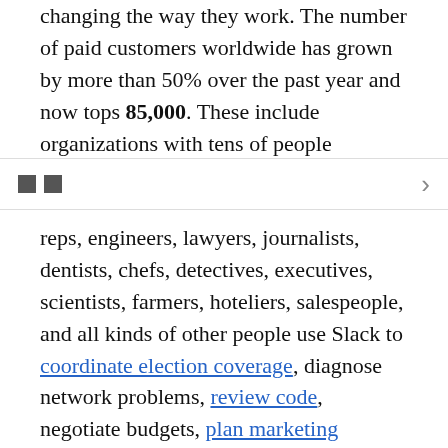changing the way they work. The number of paid customers worldwide has grown by more than 50% over the past year and now tops 85,000. These include organizations with tens of people alongside
reps, engineers, lawyers, journalists, dentists, chefs, detectives, executives, scientists, farmers, hoteliers, salespeople, and all kinds of other people use Slack to coordinate election coverage, diagnose network problems, review code, negotiate budgets, plan marketing campaigns, approve menus, review job candidates, and organize disaster response teams, along with countless other tasks.

As more industries use Slack, so do more geographies. With availability in multiple languages, including English, Spanish, French, German, and Japanese, Slack’s growth is increasingly global. More than half of Slack’s DAUs are outside of the